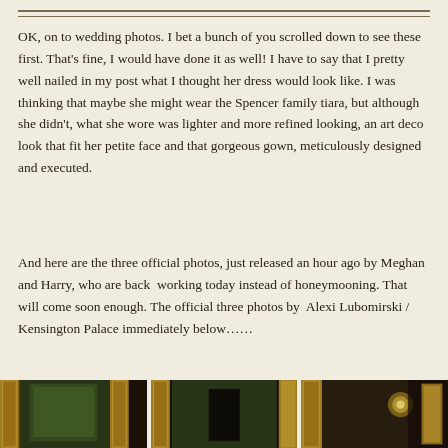OK, on to wedding photos. I bet a bunch of you scrolled down to see these first. That's fine, I would have done it as well! I have to say that I pretty well nailed in my post what I thought her dress would look like. I was thinking that maybe she might wear the Spencer family tiara, but although she didn't, what she wore was lighter and more refined looking, an art deco look that fit her petite face and that gorgeous gown, meticulously designed and executed.
And here are the three official photos, just released an hour ago by Meghan and Harry, who are back  working today instead of honeymooning. That will come soon enough. The official three photos by  Alexi Lubomirski / Kensington Palace immediately below……
[Figure (photo): Bottom strip showing a partial view of ornate gilded frames and a room interior, dark toned, appearing to be three segments of an official royal wedding photo.]